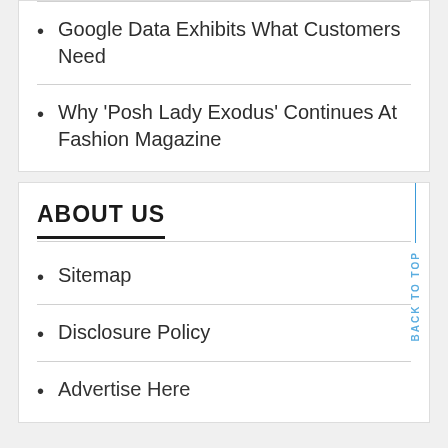Google Data Exhibits What Customers Need
Why 'Posh Lady Exodus' Continues At Fashion Magazine
ABOUT US
Sitemap
Disclosure Policy
Advertise Here